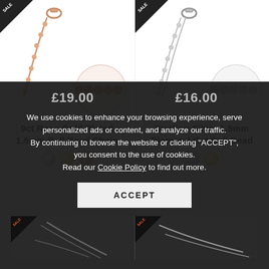[Figure (photo): 9ct Rose Gold Plated 1.5mm Ball Bead Chain product image with close-up detail circle, SALE badge in corner]
9ct Rose Gold Plated
1.5mm Ball Bead Chain
[Figure (photo): Sterling Silver 1.5mm Diamond Cut Ball Bead chain product image with close-up detail circle, SALE badge in corner]
Sterling Silver 1.5mm
Diamond Cut Ball Bead
£19.00
£16.00
We use cookies to enhance your browsing experience, serve personalized ads or content, and analyze our traffic. By continuing to browse the website or clicking "ACCEPT", you consent to the use of cookies. Read our Cookie Policy to find out more.
ACCEPT
[Figure (photo): Bottom strip showing two product images with SALE badges, dark background, partially visible jewelry chains]